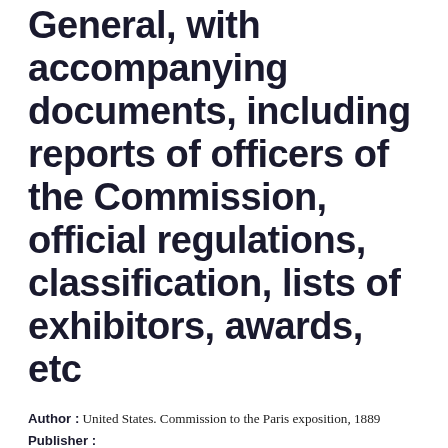General, with accompanying documents, including reports of officers of the Commission, official regulations, classification, lists of exhibitors, awards, etc
Author : United States. Commission to the Paris exposition, 1889
Publisher :
Release Date : 1890
ISBN :
Pages : pages
Rating : 4.0/5 (25 Download)